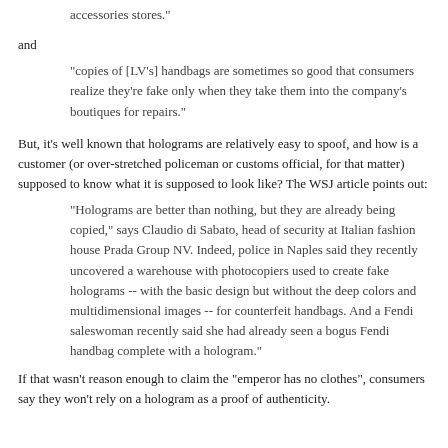accessories stores."
and
"copies of [LV's] handbags are sometimes so good that consumers realize they're fake only when they take them into the company's boutiques for repairs."
But, it's well known that holograms are relatively easy to spoof, and how is a customer (or over-stretched policeman or customs official, for that matter) supposed to know what it is supposed to look like? The WSJ article points out:
"Holograms are better than nothing, but they are already being copied," says Claudio di Sabato, head of security at Italian fashion house Prada Group NV. Indeed, police in Naples said they recently uncovered a warehouse with photocopiers used to create fake holograms -- with the basic design but without the deep colors and multidimensional images -- for counterfeit handbags. And a Fendi saleswoman recently said she had already seen a bogus Fendi handbag complete with a hologram."
If that wasn't reason enough to claim the "emperor has no clothes", consumers say they won't rely on a hologram as a proof of authenticity.